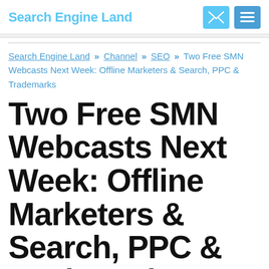Search Engine Land
Search Engine Land » Channel » SEO » Two Free SMN Webcasts Next Week: Offline Marketers & Search, PPC & Trademarks
Two Free SMN Webcasts Next Week: Offline Marketers & Search, PPC & Trademarks
Search Marketing Now, our educational